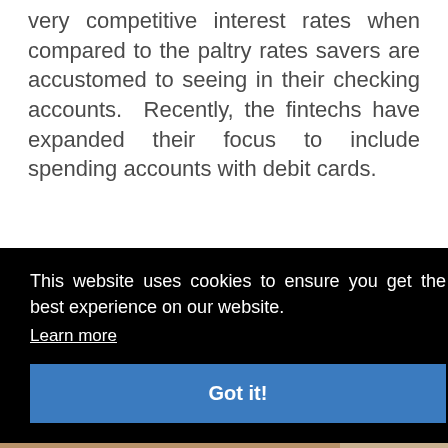very competitive interest rates when compared to the paltry rates savers are accustomed to seeing in their checking accounts. Recently, the fintechs have expanded their focus to include spending accounts with debit cards.
Read More
This website uses cookies to ensure you get the best experience on our website. Learn more Got it!
[Figure (photo): Partial view of financial documents or cards at the bottom of the page]